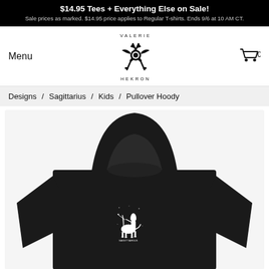$14.95 Tees + Everything Else on Sale! Sale prices as marked. $14.95 price applies to Regular T-shirts. Ends 9/6 at 10 AM CT.
Menu
[Figure (logo): Valerie Hekron brand logo with crossed daggers/bones and bird skull motif, text VALERIE above and HEKRON below]
[Figure (illustration): Shopping cart icon with number 0]
Designs / Sagittarius / Kids / Pullover Hoody
[Figure (photo): Black kids pullover hoodie with a white Sagittarius centaur design printed on the chest, shown from the back/side angle on a white background]